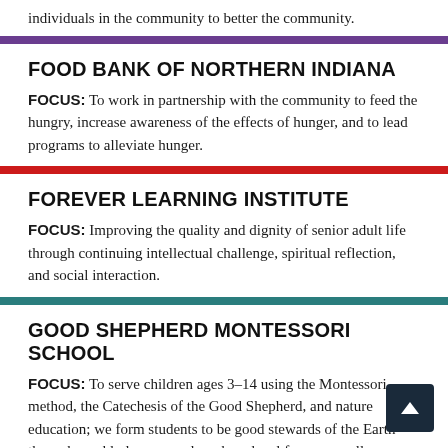individuals in the community to better the community.
FOOD BANK OF NORTHERN INDIANA
FOCUS: To work in partnership with the community to feed the hungry, increase awareness of the effects of hunger, and to lead programs to alleviate hunger.
FOREVER LEARNING INSTITUTE
FOCUS: Improving the quality and dignity of senior adult life through continuing intellectual challenge, spiritual reflection, and social interaction.
GOOD SHEPHERD MONTESSORI SCHOOL
FOCUS: To serve children ages 3–14 using the Montessori method, the Catechesis of the Good Shepherd, and nature education; we form students to be good stewards of the Earth through weekly lessons and work on local farms as well as permaculture practices on our urban school-farm, and we become good community members by practicing peace and offering service to the poor elderly.